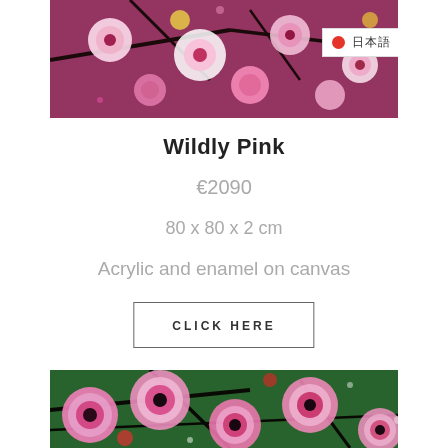[Figure (photo): Partial view of a colorful floral painting with pink, white, and magenta flowers on dark branches — top portion visible. A language selector overlay appears in the top right showing a Japanese flag icon and Japanese text with a dropdown arrow.]
Wildly Pink
€2090
80 x 80 x 2 cm
Acrylic and enamel on canvas
CLICK HERE
[Figure (photo): Bottom portion of a colorful floral painting showing large pink and magenta circular flowers with white highlights on a dark green and black background with visible brushstrokes.]